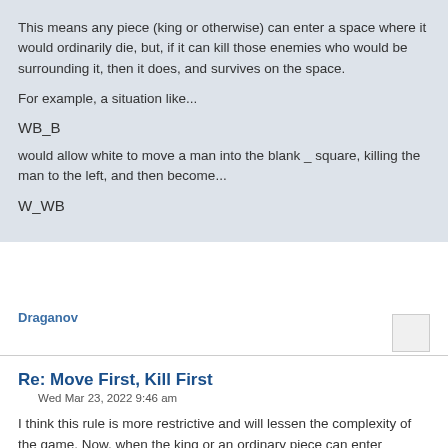This means any piece (king or otherwise) can enter a space where it would ordinarily die, but, if it can kill those enemies who would be surrounding it, then it does, and survives on the space.
For example, a situation like...
WB_B
would allow white to move a man into the blank _ square, killing the man to the left, and then become...
W_WB
Draganov
Re: Move First, Kill First
Wed Mar 23, 2022 9:46 am
I think this rule is more restrictive and will lessen the complexity of the game. Now, when the king or an ordinary piece can enter between two enemy pieces, the game is more complex and both sides have more tactical opportunities.